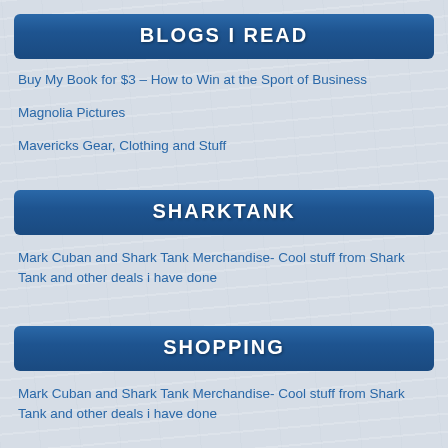BLOGS I READ
Buy My Book for $3 – How to Win at the Sport of Business
Magnolia Pictures
Mavericks Gear, Clothing and Stuff
SHARKTANK
Mark Cuban and Shark Tank Merchandise- Cool stuff from Shark Tank and other deals i have done
SHOPPING
Mark Cuban and Shark Tank Merchandise- Cool stuff from Shark Tank and other deals i have done